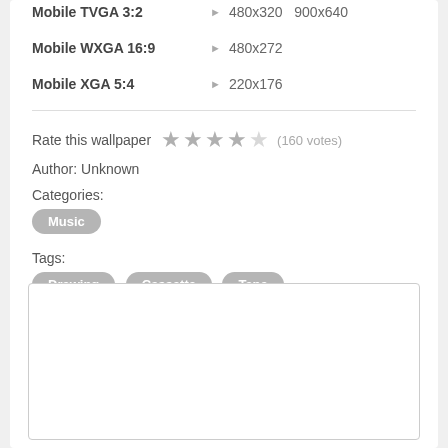Mobile TVGA 3:2 ▶ 480x320  900x640
Mobile WXGA 16:9 ▶ 480x272
Mobile XGA 5:4 ▶ 220x176
Rate this wallpaper ★★★★☆ (160 votes)
Author: Unknown
Categories:
Music
Tags:
Drawing  Cassette  Tape
[Figure (other): Empty text input box]